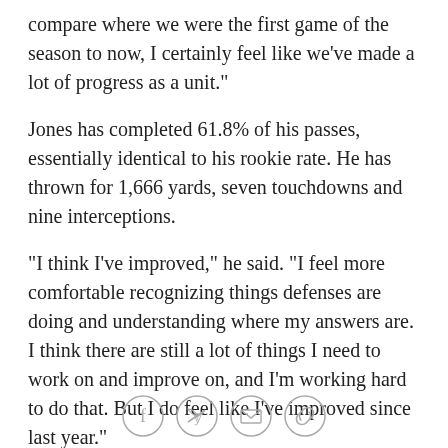compare where we were the first game of the season to now, I certainly feel like we've made a lot of progress as a unit."
Jones has completed 61.8% of his passes, essentially identical to his rookie rate. He has thrown for 1,666 yards, seven touchdowns and nine interceptions.
"I think I've improved," he said. "I feel more comfortable recognizing things defenses are doing and understanding where my answers are. I think there are still a lot of things I need to work on and improve on, and I'm working hard to do that. But I do feel like I've improved since last year."
He certainly has as a runner, largely out of necessity; the Giants have not had Barkley since he suffered a
[Figure (other): Social sharing icons: Facebook, Twitter, Email, Link]